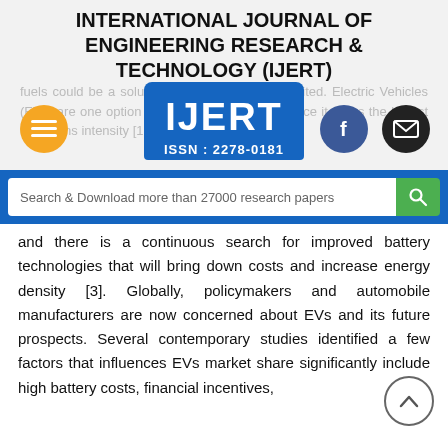INTERNATIONAL JOURNAL OF ENGINEERING RESEARCH & TECHNOLOGY (IJERT)
[Figure (logo): IJERT logo with ISSN: 2278-0181 in blue, overlaid on faded background text]
Search & Download more than 27000 research papers
and there is a continuous search for improved battery technologies that will bring down costs and increase energy density [3]. Globally, policymakers and automobile manufacturers are now concerned about EVs and its future prospects. Several contemporary studies identified a few factors that influences EVs market share significantly include high battery costs, financial incentives,